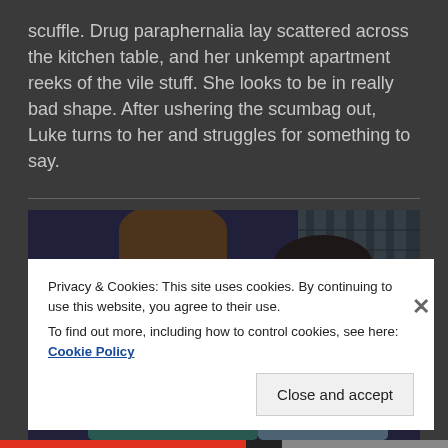scuffle. Drug paraphernalia lay scattered across the kitchen table, and her unkempt apartment reeks of the vile stuff. She looks to be in really bad shape. After ushering the scumbag out, Luke turns to her and struggles for something to say.
[Figure (screenshot): A screenshot from a video game (The Sims) showing two characters, one male with short hair seen from the side, and one female with dark hair covering her face with her hand, appearing distressed. Background shows a room with window blinds.]
Privacy & Cookies: This site uses cookies. By continuing to use this website, you agree to their use.
To find out more, including how to control cookies, see here: Cookie Policy
Close and accept